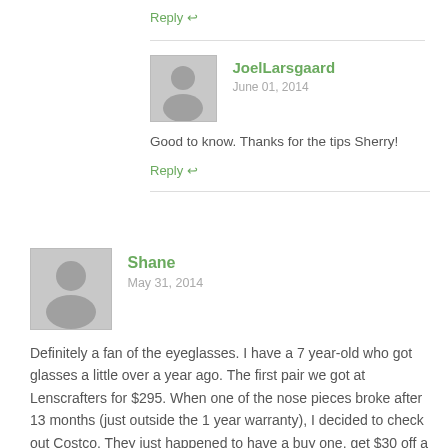Reply ↩
JoelLarsgaard
June 01, 2014
Good to know. Thanks for the tips Sherry!
Reply ↩
Shane
May 31, 2014
Definitely a fan of the eyeglasses. I have a 7 year-old who got glasses a little over a year ago. The first pair we got at Lenscrafters for $295. When one of the nose pieces broke after 13 months (just outside the 1 year warranty), I decided to check out Costco. They just happened to have a buy one, get $30 off a second pair deal. I got two pairs of glasses –